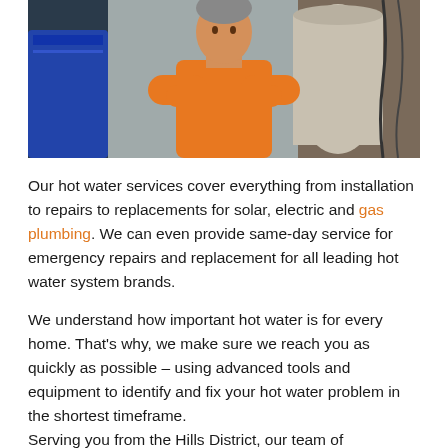[Figure (photo): A plumber/tradesman in an orange high-visibility shirt standing with arms crossed in a workshop or utility room setting.]
Our hot water services cover everything from installation to repairs to replacements for solar, electric and gas plumbing. We can even provide same-day service for emergency repairs and replacement for all leading hot water system brands.
We understand how important hot water is for every home. That's why, we make sure we reach you as quickly as possible – using advanced tools and equipment to identify and fix your hot water problem in the shortest timeframe.
Serving you from the Hills District, our team of